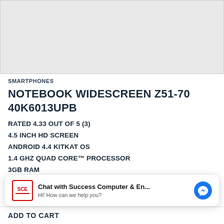[Figure (photo): Product image placeholder — light gray rectangle]
SMARTPHONES
NOTEBOOK WIDESCREEN Z51-70 40K6013UPB
RATED 4.33 OUT OF 5 (3)
4.5 INCH HD SCREEN
ANDROID 4.4 KITKAT OS
1.4 GHZ QUAD CORE™ PROCESSOR
3GB RAM
[Figure (screenshot): Chat widget: SCE logo, 'Chat with Success Computer & En...' and 'Hi! How can we help you?' with Messenger icon]
ADD TO CART